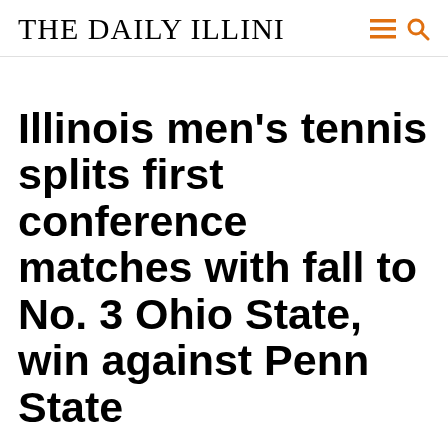THE DAILY ILLINI
Illinois men's tennis splits first conference matches with fall to No. 3 Ohio State, win against Penn State